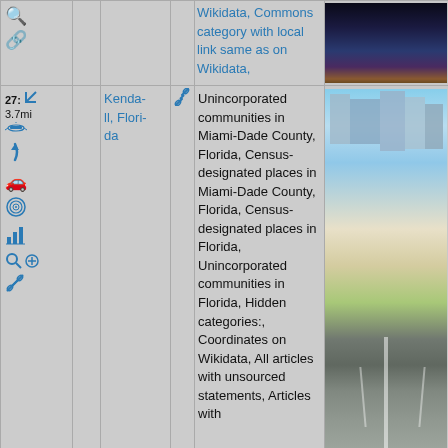| icons | link | name | link2 | description | photo |
| --- | --- | --- | --- | --- | --- |
| [icons] | [link] |  | [link] | Wikidata, Commons category with local link same as on Wikidata, | [photo-top] |
| 27: 3.7mi [icons] | [link] | Kendall, Florida | [link] | Unincorporated communities in Miami-Dade County, Florida, Census-designated places in Miami-Dade County, Florida, Census-designated places in Florida, Unincorporated communities in Florida, Hidden categories:, Coordinates on Wikidata, All articles with unsourced statements, Articles with | [photo-bottom] |